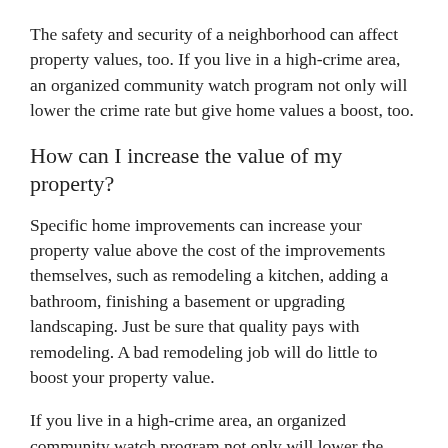The safety and security of a neighborhood can affect property values, too. If you live in a high-crime area, an organized community watch program not only will lower the crime rate but give home values a boost, too.
How can I increase the value of my property?
Specific home improvements can increase your property value above the cost of the improvements themselves, such as remodeling a kitchen, adding a bathroom, finishing a basement or upgrading landscaping. Just be sure that quality pays with remodeling. A bad remodeling job will do little to boost your property value.
If you live in a high-crime area, an organized community watch program not only will lower the